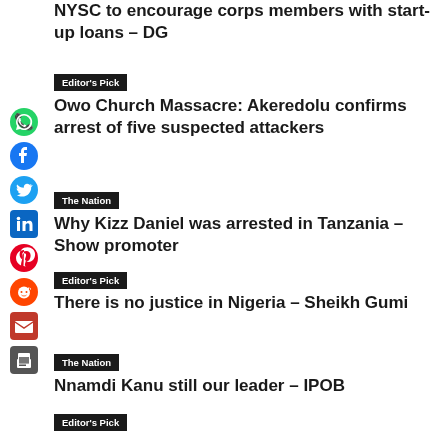NYSC to encourage corps members with start-up loans – DG
Editor's Pick
Owo Church Massacre: Akeredolu confirms arrest of five suspected attackers
The Nation
Why Kizz Daniel was arrested in Tanzania – Show promoter
Editor's Pick
There is no justice in Nigeria – Sheikh Gumi
The Nation
Nnamdi Kanu still our leader – IPOB
Editor's Pick